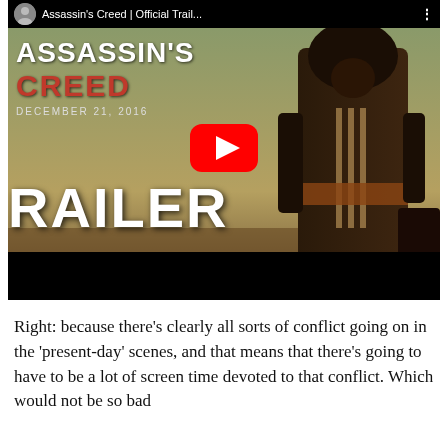[Figure (screenshot): YouTube video thumbnail for 'Assassin's Creed | Official Trai...' showing a hooded figure in Assassin's Creed costume with the movie title overlay, play button, 'RAILER' text at bottom, and black letterbox bar. December 21, 2016 release date shown.]
Right: because there's clearly all sorts of conflict going on in the 'present-day' scenes, and that means that there's going to have to be a lot of screen time devoted to that conflict. Which would not be so bad